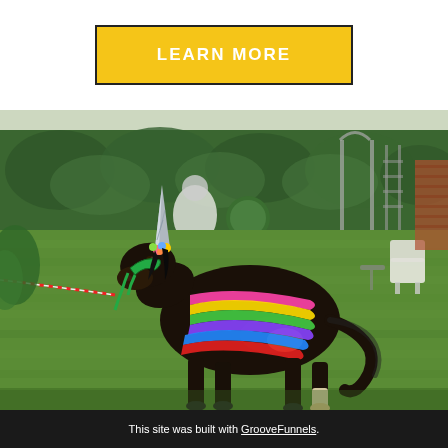LEARN MORE
[Figure (photo): A small black pony dressed as a unicorn with a silver horn, colorful rainbow ribbons, and a green halter, standing on a green lawn in a garden with lush plants, metal arches, and patio furniture in the background.]
This site was built with GrooveFunnels.